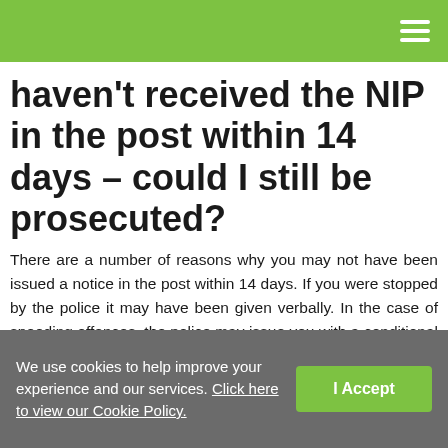haven't received the NIP in the post within 14 days – could I still be prosecuted?
There are a number of reasons why you may not have been issued a notice in the post within 14 days. If you were stopped by the police it may have been given verbally. In the case of speeding offences, the police may issue you with a conditional offer of a fixed penalty of 3 points and £100.00 fine by post or an offer of a speed awareness course. If the offence is considered too serious for a speed awareness course or fixed penalty you may be charged with an offence
We use cookies to help improve your experience and our services. Click here to view our Cookie Policy.